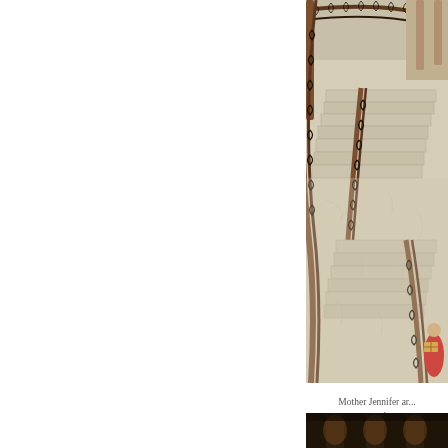[Figure (photo): Overhead view of a grand curved staircase with ornate dark iron railings and wooden banisters, stone/marble steps. A person in a red outfit carrying a gold/yellow item is visible at the bottom right of the stairs.]
Mother Jennifer ar... present ther...
[Figure (photo): Partial view of a dark interior scene, appears to be a building interior with low lighting.]